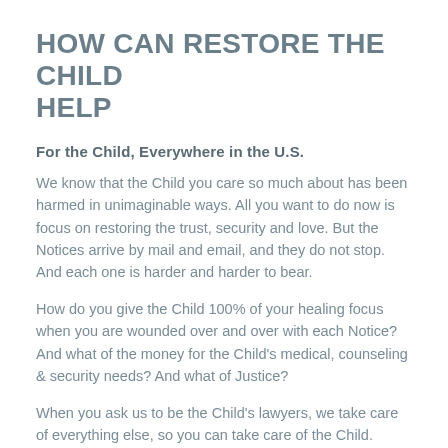HOW CAN RESTORE THE CHILD HELP
For the Child, Everywhere in the U.S.
We know that the Child you care so much about has been harmed in unimaginable ways. All you want to do now is focus on restoring the trust, security and love. But the Notices arrive by mail and email, and they do not stop. And each one is harder and harder to bear.
How do you give the Child 100% of your healing focus when you are wounded over and over with each Notice? And what of the money for the Child’s medical, counseling & security needs? And what of Justice?
When you ask us to be the Child’s lawyers, we take care of everything else, so you can take care of the Child.
COMMITTED TO YOUR FAMILY'S BEST